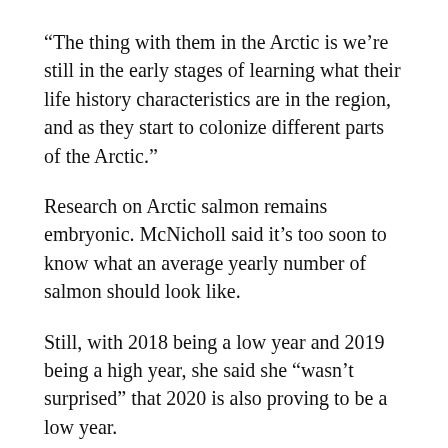“The thing with them in the Arctic is we’re still in the early stages of learning what their life history characteristics are in the region, and as they start to colonize different parts of the Arctic.”
Research on Arctic salmon remains embryonic. McNicholl said it’s too soon to know what an average yearly number of salmon should look like.
Still, with 2018 being a low year and 2019 being a high year, she said she “wasn’t surprised” that 2020 is also proving to be a low year.
“If I had to make a prediction, I would expect 2021 to be a busier year,” she said.